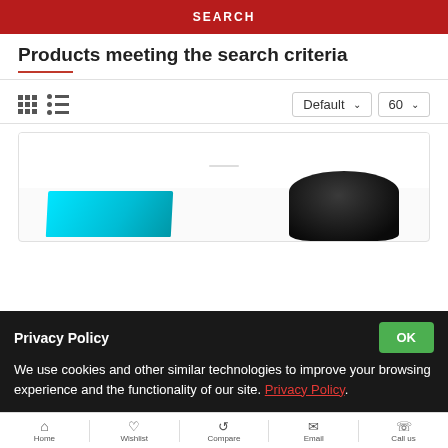SEARCH
Products meeting the search criteria
[Figure (screenshot): E-commerce search results page with grid/list view toggle and Default/60 sort dropdowns]
[Figure (photo): Product image showing a cyan/teal flat box and a dark rounded product on white background]
Privacy Policy
We use cookies and other similar technologies to improve your browsing experience and the functionality of our site. Privacy Policy.
Home  Wishlist  Compare  Email  Call us